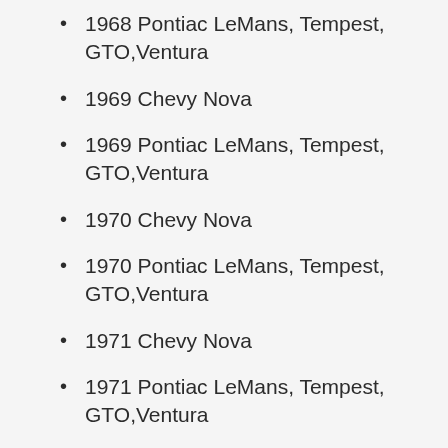1968 Pontiac LeMans, Tempest, GTO,Ventura
1969 Chevy Nova
1969 Pontiac LeMans, Tempest, GTO,Ventura
1970 Chevy Nova
1970 Pontiac LeMans, Tempest, GTO,Ventura
1971 Chevy Nova
1971 Pontiac LeMans, Tempest, GTO,Ventura
1972 Chevy Nova
1972 Pontiac LeMans, Tempest, GTO,Ventura
1973 Chevy Nova
1973 Pontiac LeMans, Tempest,